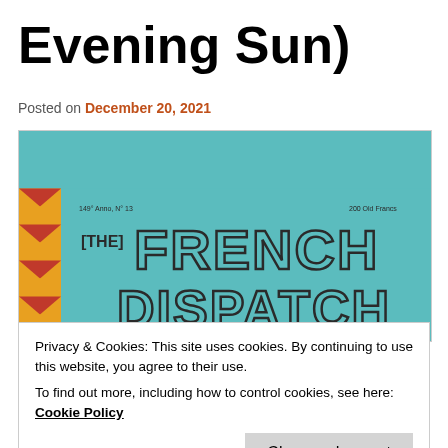Evening Sun)
Posted on December 20, 2021
[Figure (photo): Movie poster for The French Dispatch (of the Liberty, Kansas Evening Sun) — teal/turquoise background with large dotted-letter title text, red/yellow chevron border on left, cast names including Bill Murray, Frances McDormand, Jeffrey, Wes Anderson credit, and illustrated city scene at bottom.]
Privacy & Cookies: This site uses cookies. By continuing to use this website, you agree to their use.
To find out more, including how to control cookies, see here: Cookie Policy